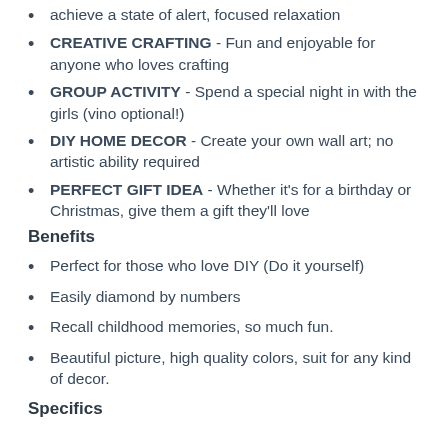achieve a state of alert, focused relaxation
CREATIVE CRAFTING - Fun and enjoyable for anyone who loves crafting
GROUP ACTIVITY - Spend a special night in with the girls (vino optional!)
DIY HOME DECOR - Create your own wall art; no artistic ability required
PERFECT GIFT IDEA - Whether it's for a birthday or Christmas, give them a gift they'll love
Benefits
Perfect for those who love DIY (Do it yourself)
Easily diamond by numbers
Recall childhood memories, so much fun.
Beautiful picture, high quality colors, suit for any kind of decor.
Specifics